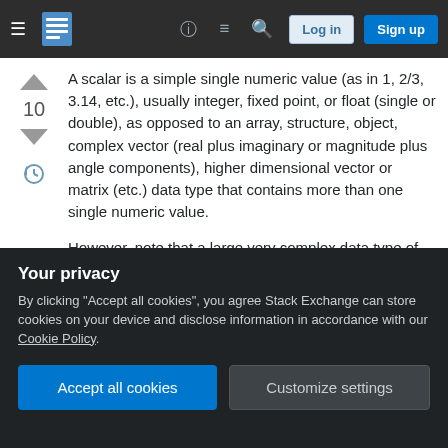Stack Exchange navigation bar with Log in and Sign up buttons
A scalar is a simple single numeric value (as in 1, 2/3, 3.14, etc.), usually integer, fixed point, or float (single or double), as opposed to an array, structure, object, complex vector (real plus imaginary or magnitude plus angle components), higher dimensional vector or matrix (etc.) data type that contains more than one single numeric value.
However, note that a large very complex data type of the sort that can also be flattened and represented in 8-bit bytes of computer memory can also be represented as one single very long/large...
Your privacy
By clicking "Accept all cookies", you agree Stack Exchange can store cookies on your device and disclose information in accordance with our Cookie Policy.